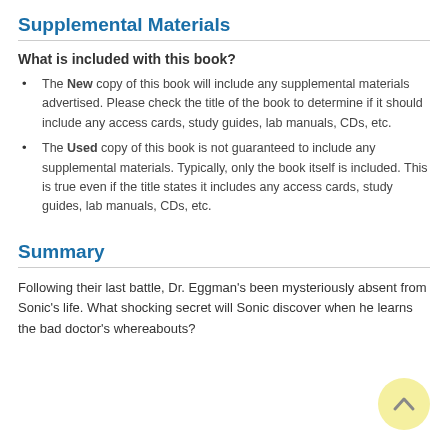Supplemental Materials
What is included with this book?
The New copy of this book will include any supplemental materials advertised. Please check the title of the book to determine if it should include any access cards, study guides, lab manuals, CDs, etc.
The Used copy of this book is not guaranteed to include any supplemental materials. Typically, only the book itself is included. This is true even if the title states it includes any access cards, study guides, lab manuals, CDs, etc.
Summary
Following their last battle, Dr. Eggman's been mysteriously absent from Sonic's life. What shocking secret will Sonic discover when he learns the bad doctor's whereabouts?